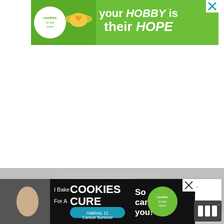[Figure (infographic): Cookies for Kids Cancer banner ad — green background with white text 'your HOBBY is their HOPE', cookie logo on left, hands holding heart-shaped cookie, X close button top right]
[Figure (photo): Partial gray/silver photo background visible in lower section of page]
[Figure (infographic): What's Next widget showing thumbnail image of cookie and text 'Gluten-free Pumpkin...' with arrow]
[Figure (infographic): Cookies for Kids Cancer bottom banner ad — black background, text 'I Bake COOKIES For A CURE', 'Haldora, 11 Cancer Survivor', 'So can you!', green cookies logo, X close button, girl with cookies photo]
[Figure (infographic): Millennial media logo — three white bars on dark background with superscript degree symbol]